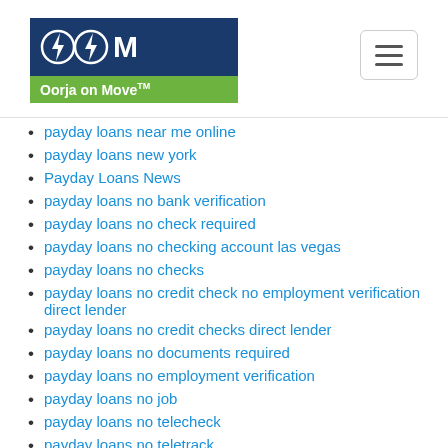Oorja on Move — navigation header with logo and hamburger menu
payday loans near me online
payday loans new york
Payday Loans News
payday loans no bank verification
payday loans no check required
payday loans no checking account las vegas
payday loans no checks
payday loans no credit check no employment verification direct lender
payday loans no credit checks direct lender
payday loans no documents required
payday loans no employment verification
payday loans no job
payday loans no telecheck
payday loans no teletrack
payday loans north augusta